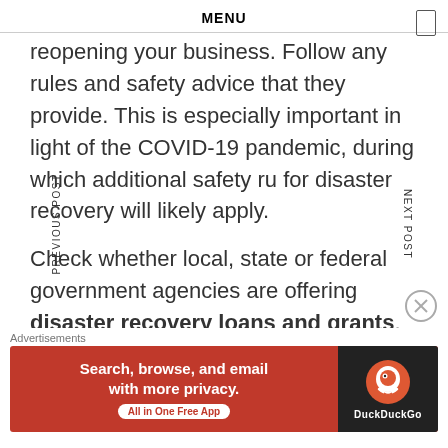MENU
reopening your business. Follow any rules and safety advice that they provide. This is especially important in light of the COVID-19 pandemic, during which additional safety ru for disaster recovery will likely apply.
Check whether local, state or federal government agencies are offering disaster recovery loans and grants. The sooner your business can apply for these, the sooner yo application can usually be processed.
Advertisements
[Figure (screenshot): DuckDuckGo advertisement banner: orange/red background with text 'Search, browse, and email with more privacy. All in One Free App' and DuckDuckGo logo on dark right panel]